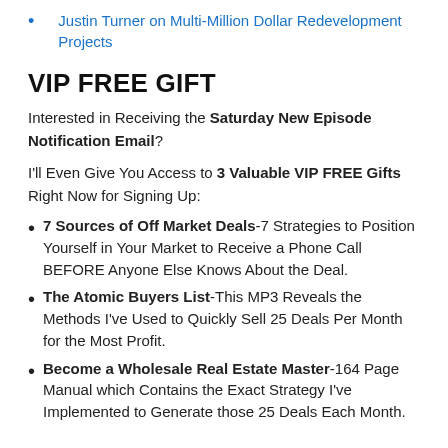Justin Turner on Multi-Million Dollar Redevelopment Projects
VIP FREE GIFT
Interested in Receiving the Saturday New Episode Notification Email?
I'll Even Give You Access to 3 Valuable VIP FREE Gifts Right Now for Signing Up:
7 Sources of Off Market Deals-7 Strategies to Position Yourself in Your Market to Receive a Phone Call BEFORE Anyone Else Knows About the Deal.
The Atomic Buyers List-This MP3 Reveals the Methods I've Used to Quickly Sell 25 Deals Per Month for the Most Profit.
Become a Wholesale Real Estate Master-164 Page Manual which Contains the Exact Strategy I've Implemented to Generate those 25 Deals Each Month.